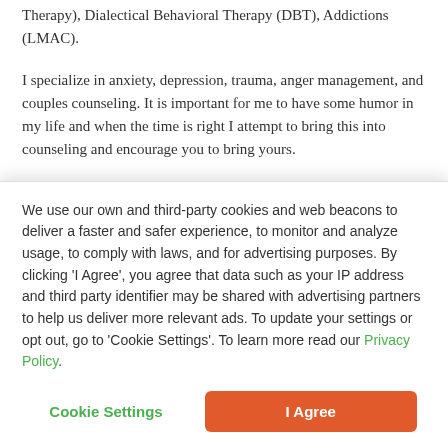Therapy), Dialectical Behavioral Therapy (DBT), Addictions (LMAC).
I specialize in anxiety, depression, trauma, anger management, and couples counseling. It is important for me to have some humor in my life and when the time is right I attempt to bring this into counseling and encourage you to bring yours.
Over time, I have gained experience with many diverse populations. Some populations that I have passions for are
We use our own and third-party cookies and web beacons to deliver a faster and safer experience, to monitor and analyze usage, to comply with laws, and for advertising purposes. By clicking ‘I Agree’, you agree that data such as your IP address and third party identifier may be shared with advertising partners to help us deliver more relevant ads. To update your settings or opt out, go to ‘Cookie Settings’. To learn more read our Privacy Policy.
Cookie Settings
I Agree